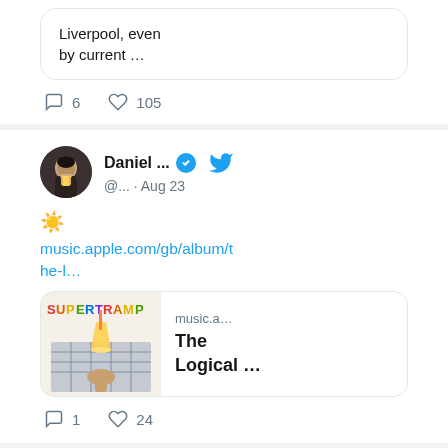Liverpool, even by current …
6  105
Daniel ... @... · Aug 23
☀️ music.apple.com/gb/album/the-l…
[Figure (screenshot): Supertramp album art thumbnail with SUPERTRAMP text logo and 'The Logical ...' label shown in a music link preview card for music.apple.com]
1  24
View more on Twitter